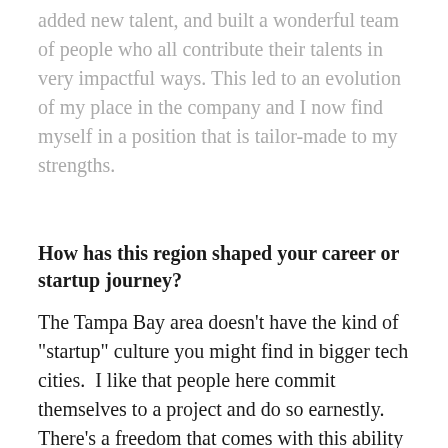added new talent, and built a wonderful team of people who all contribute their talents in very impactful ways. This led to an evolution of my place in the company and I now find myself in a position that is tailor-made to my strengths.
How has this region shaped your career or startup journey?
The Tampa Bay area doesn't have the kind of "startup" culture you might find in bigger tech cities.  I like that people here commit themselves to a project and do so earnestly. There's a freedom that comes with this ability to rely on your team and trust their resolve and dedication. I feel that our company is able to build a strong team because we feel a sense of community, both to each other and Tampa at large.